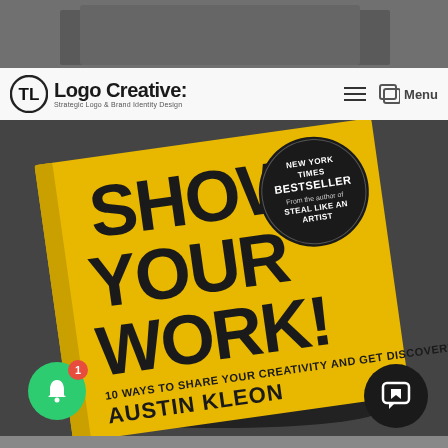[Figure (screenshot): Top gray strip showing partial dark image at the top of the page]
Logo Creative: Strategic Logo & Brand Identity Design — Menu navigation bar
[Figure (photo): Photograph of the book 'Show Your Work! 10 Ways to Share Your Creativity and Get Discovered' by Austin Kleon, with a bright yellow cover, laying on a dark textured surface. A New York Times Bestseller circle badge is visible on the cover. The website is thelogocreative.co.uk.]
[Figure (other): Green notification bell button with red badge showing '1' in bottom left corner]
[Figure (other): Black chat/comment button in bottom right corner]